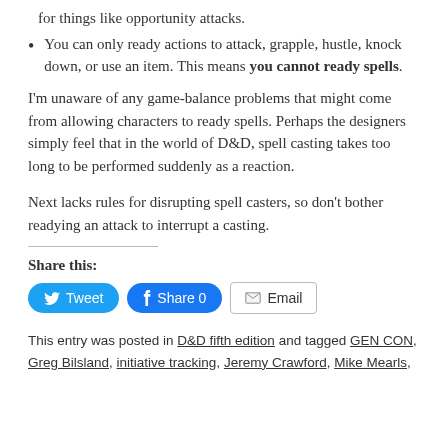for things like opportunity attacks.
You can only ready actions to attack, grapple, hustle, knock down, or use an item. This means you cannot ready spells.
I'm unaware of any game-balance problems that might come from allowing characters to ready spells. Perhaps the designers simply feel that in the world of D&D, spell casting takes too long to be performed suddenly as a reaction.
Next lacks rules for disrupting spell casters, so don't bother readying an attack to interrupt a casting.
Share this:
[Figure (other): Social sharing buttons: Tweet, Share 0, Email]
This entry was posted in D&D fifth edition and tagged GEN CON, Greg Bilsland, initiative tracking, Jeremy Crawford, Mike Mearls,